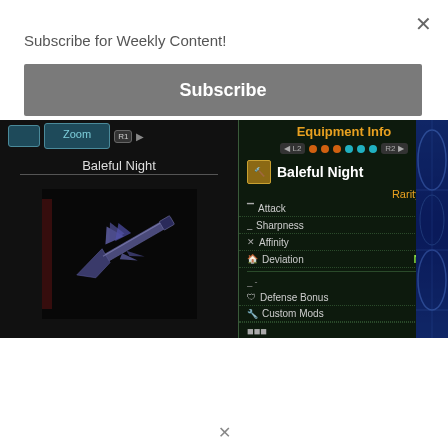Subscribe for Weekly Content!
Subscribe
[Figure (screenshot): Monster Hunter game screenshot showing Equipment Info panel for 'Baleful Night' weapon. Left panel shows weapon image with 'Zoom' tab and 'Baleful Night' label. Right panel shows Equipment Info with stats: Rarity 11, Attack 390, Sharpness -, Affinity 20%, Deviation None, Defense Bonus, Custom Mods. Navigation dots in orange and teal are visible.]
×